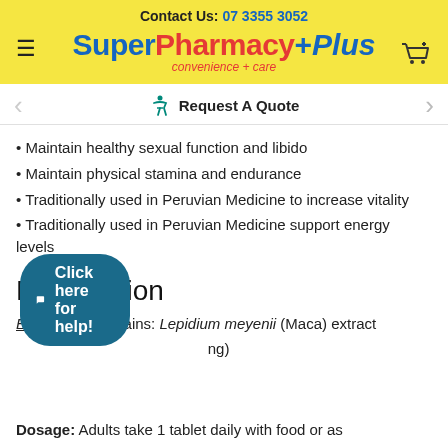Contact Us: 07 3355 3052 SuperPharmacyPlus convenience + care
Request A Quote
Maintain healthy sexual function and libido
Maintain physical stamina and endurance
Traditionally used in Peruvian Medicine to increase vitality
Traditionally used in Peruvian Medicine support energy levels
Formulation
Lepidium meyenii (Maca) extract ng)
Dosage: Adults take 1 tablet daily with food or as